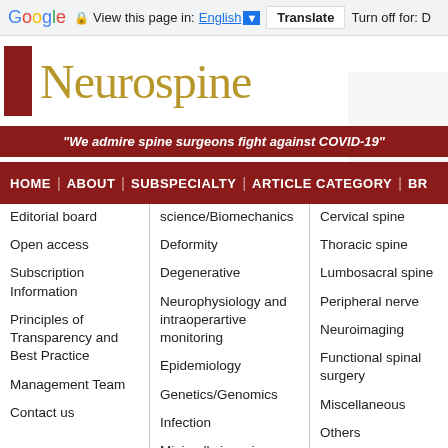Google | View this page in: English | Translate | Turn off for: D
[Figure (logo): Neurospine journal logo with red square and gold text on white background with faint world map]
"We admire spine surgeons fight against COVID-19"
HOME | ABOUT | SUBSPECIALTY | ARTICLE CATEGORY | BR
Editorial board
Open access
Subscription Information
Principles of Transparency and Best Practice
Management Team
Contact us
science/Biomechanics
Deformity
Degenerative
Neurophysiology and intraoperartive monitoring
Epidemiology
Genetics/Genomics
Infection
Minimally invasive surgery
Oncology
Pain
Cervical spine
Thoracic spine
Lumbosacral spine
Peripheral nerve
Neuroimaging
Functional spinal surgery
Miscellaneous
Others